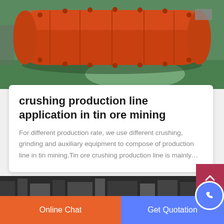[Figure (photo): Large orange industrial ball mill cylinder on a green factory floor]
crushing production line application in tin ore mining
For different production rate, we use different crushing, grinding and auxiliary equipment to compose of production line in tin mining.Tin ore crushing production line is mainly…
[Figure (photo): Partial view of machinery at the bottom of the page]